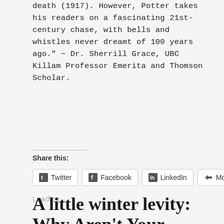death (1917). However, Potter takes his readers on a fascinating 21st-century chase, with bells and whistles never dreamt of 100 years ago." ~ Dr. Sherrill Grace, UBC Killam Professor Emerita and Thomson Scholar.
Share this:
Twitter  Facebook  LinkedIn  More
Loading...
A little winter levity: Why Aren't Your Novels set in the